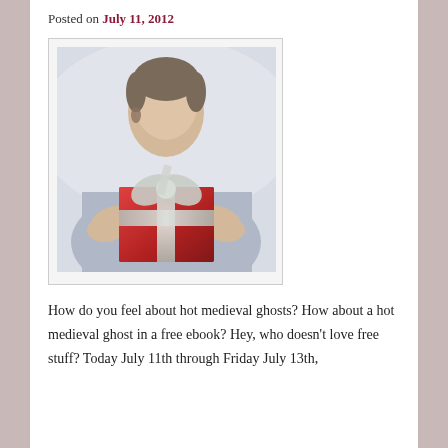Posted on July 11, 2012
[Figure (photo): A woman holding out a red gift box wrapped with a gray ribbon bow toward the camera, blurred background]
How do you feel about hot medieval ghosts? How about a hot medieval ghost in a free ebook? Hey, who doesn't love free stuff? Today July 11th through Friday July 13th,